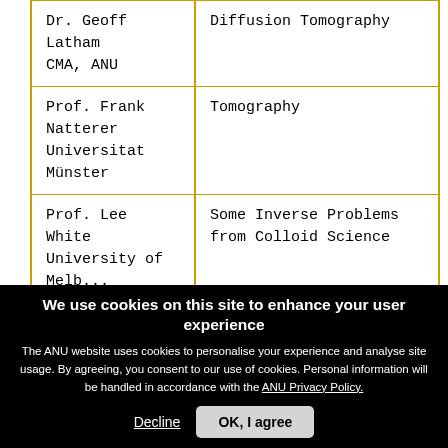| Person | Topic |
| --- | --- |
| Dr. Geoff Latham
CMA, ANU | Diffusion Tomography |
| Prof. Frank Natterer
Universitat Münster | Tomography |
| Prof. Lee White
University of Melbourne | Some Inverse Problems from Colloid Science |
We use cookies on this site to enhance your user experience
The ANU website uses cookies to personalise your experience and analyse site usage. By agreeing, you consent to our use of cookies. Personal information will be handled in accordance with the ANU Privacy Policy.